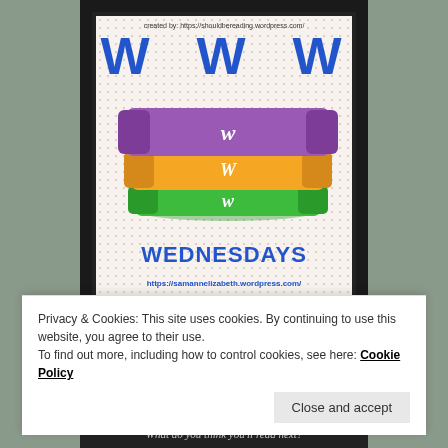[Figure (illustration): WWW Wednesdays blog meme image showing three stacked books (purple, orange, green) each with a 'W' on the spine, large 'W W W' letters at top, 'WEDNESDAYS' at bottom, created by shouldbereading.wordpress.com, hosted at samannelizabeth.wordpress.com]
Privacy & Cookies: This site uses cookies. By continuing to use this website, you agree to their use.
To find out more, including how to control cookies, see here: Cookie Policy
Close and accept
What do you think you'll read next?